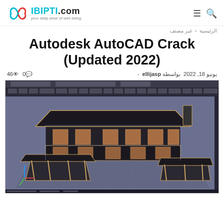IBIPTI.com — your daily dose of well being
الرئيسية > غير مصنف
Autodesk AutoCAD Crack (Updated 2022)
46 views  0 comments  بواسطة ellijasp  يونيو 18, 2022 -
[Figure (screenshot): AutoCAD 3D model of a house shown in the AutoCAD application interface with toolbar at top and dark 3D wireframe/rendered view of a two-story house]